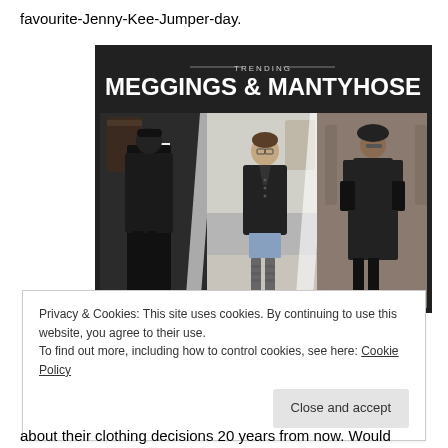favourite-Jenny-Kee-Jumper-day.
[Figure (photo): Screenshot of a 'Trending: Meggings & Mantyhose' graphic/article showing three men wearing black tights/leggings in street style fashion photos, with a dark background and bold white text overlay.]
Privacy & Cookies: This site uses cookies. By continuing to use this website, you agree to their use.
To find out more, including how to control cookies, see here: Cookie Policy
[Close and accept button]
about their clothing decisions 20 years from now. Would